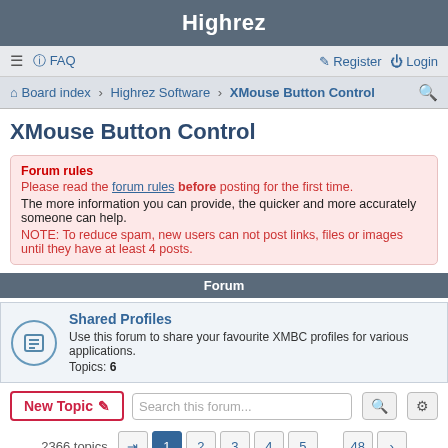Highrez
☰  FAQ  Register  Login
Board index › Highrez Software › XMouse Button Control
XMouse Button Control
Forum rules
Please read the forum rules before posting for the first time.
The more information you can provide, the quicker and more accurately someone can help.
NOTE: To reduce spam, new users can not post links, files or images until they have at least 4 posts.
Forum
Shared Profiles
Use this forum to share your favourite XMBC profiles for various applications.
Topics: 6
New Topic  Search this forum...
2366 topics  1 2 3 4 5 ... 48
Announcements